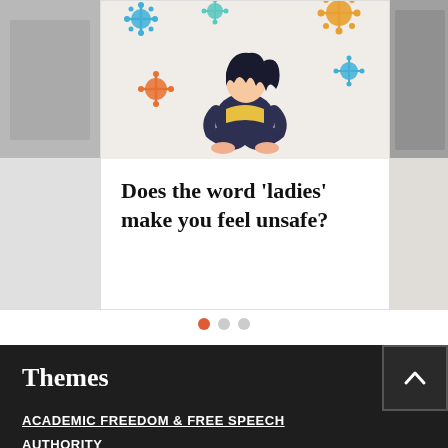[Figure (illustration): Illustration of a person sitting hugging their knees, surrounded by colorful virus/germ icons in blue, orange, and teal on a beige background. Two narrow side panels are partially visible on left and right edges.]
Does the word ‘ladies’ make you feel unsafe?
[Figure (other): Three carousel navigation dots: first dot is orange/active, second and third are grey/inactive.]
Themes
ACADEMIC FREEDOM & FREE SPEECH
AUTHORITY
EDUCATION & CULTURE
ENVIRONMENT
FIRST WORLD WAR
MORAL CRUSADES
PARENTING
POLITICS & THE ECONOMY
POPULATION